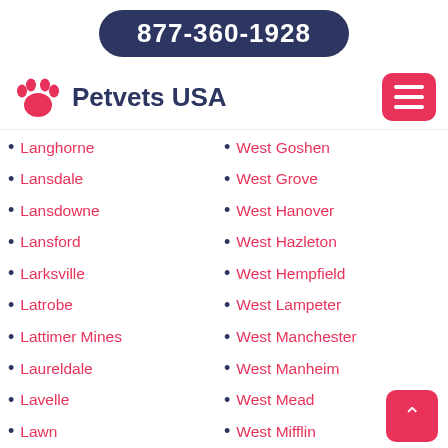877-360-1928
[Figure (logo): Petvets USA logo with pink paw print icon and dark blue text]
Langhorne
Lansdale
Lansdowne
Lansford
Larksville
Latrobe
Lattimer Mines
Laureldale
Lavelle
Lawn
Lawrence
Lawrence Park
Lawton
West Goshen
West Grove
West Hanover
West Hazleton
West Hempfield
West Lampeter
West Manchester
West Manheim
West Mead
West Mifflin
West Norriton
West Penn
West Pennsboro